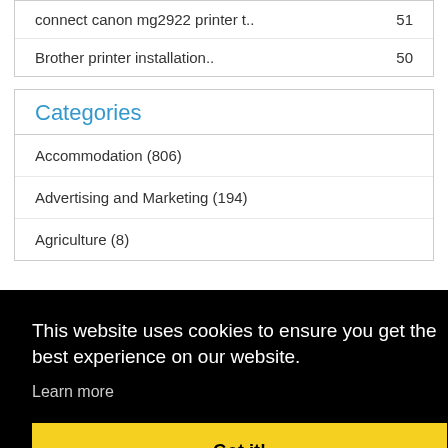connect canon mg2922 printer t.. 51
Brother printer installation.. 50
Categories
Accommodation (806)
Advertising and Marketing (194)
Agriculture (8)
This website uses cookies to ensure you get the best experience on our website. Learn more
Got it!
Booking (54)